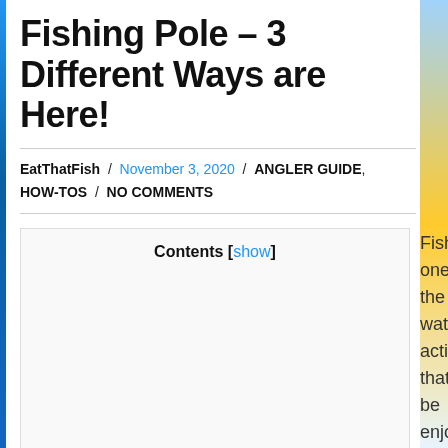Fishing Pole – 3 Different Ways are Here!
EatThatFish / November 3, 2020 / ANGLER GUIDE, HOW-TOS / NO COMMENTS
Contents [show]
Fishing is one of the great water activities that can be enjoyably spent with